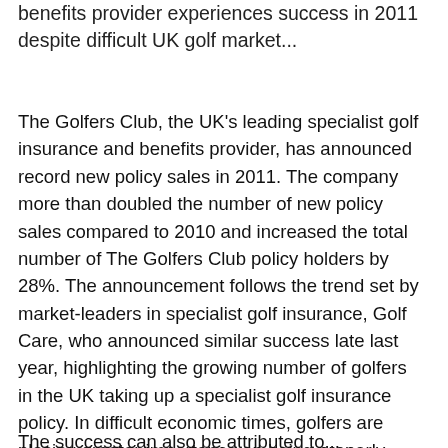benefits provider experiences success in 2011 despite difficult UK golf market...
The Golfers Club, the UK's leading specialist golf insurance and benefits provider, has announced record new policy sales in 2011. The company more than doubled the number of new policy sales compared to 2010 and increased the total number of The Golfers Club policy holders by 28%. The announcement follows the trend set by market-leaders in specialist golf insurance, Golf Care, who announced similar success late last year, highlighting the growing number of golfers in the UK taking up a specialist golf insurance policy. In difficult economic times, golfers are placing greater importance on being properly insured and have likely been influenced by the landmark case in November 2011 that saw a golfer awarded almost £400,000 in damages after being struck by a wayward shot from an adjacent hole.
The success can also be attributed to...